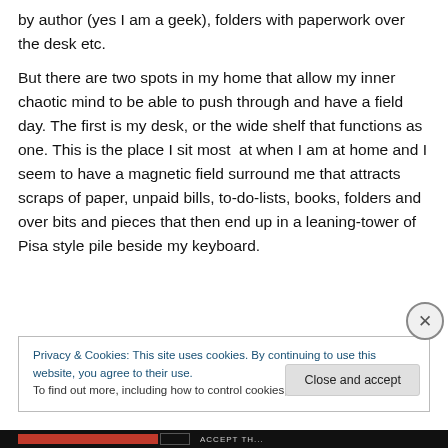by author (yes I am a geek), folders with paperwork over the desk etc.
But there are two spots in my home that allow my inner chaotic mind to be able to push through and have a field day. The first is my desk, or the wide shelf that functions as one. This is the place I sit most  at when I am at home and I seem to have a magnetic field surround me that attracts scraps of paper, unpaid bills, to-do-lists, books, folders and over bits and pieces that then end up in a leaning-tower of Pisa style pile beside my keyboard.
Privacy & Cookies: This site uses cookies. By continuing to use this website, you agree to their use.
To find out more, including how to control cookies, see here: Cookie Policy